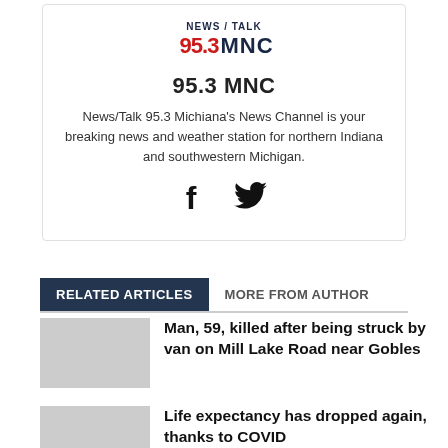[Figure (logo): NEWS/TALK 95.3 MNC radio station logo with red and dark blue text]
95.3 MNC
News/Talk 95.3 Michiana's News Channel is your breaking news and weather station for northern Indiana and southwestern Michigan.
[Figure (other): Social media icons: Facebook (f) and Twitter (bird)]
RELATED ARTICLES
MORE FROM AUTHOR
Man, 59, killed after being struck by van on Mill Lake Road near Gobles
Life expectancy has dropped again, thanks to COVID